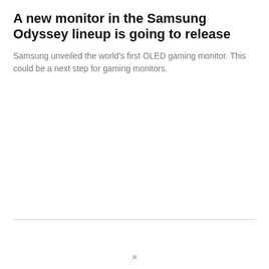A new monitor in the Samsung Odyssey lineup is going to release
Samsung unveiled the world's first OLED gaming monitor. This could be a next step for gaming monitors.